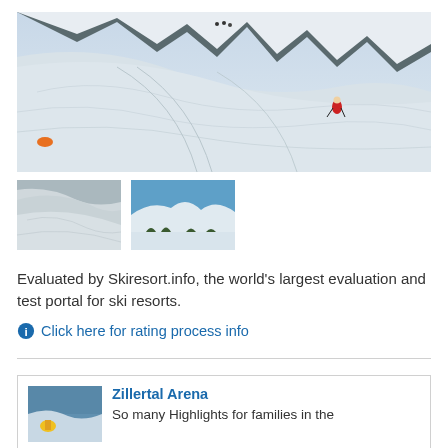[Figure (photo): Main large photo of a snowy ski mountain slope with a skier in a red jacket visible on the right side and tracks in the snow]
[Figure (photo): Thumbnail photo of a close-up snowy slope with ski tracks]
[Figure (photo): Thumbnail photo of a snowy mountain ridge with blue sky and some trees at the bottom]
Evaluated by Skiresort.info, the world's largest evaluation and test portal for ski resorts.
Click here for rating process info
[Figure (photo): Small thumbnail photo promoting Zillertal Arena showing a skier on a slope]
Zillertal Arena
So many Highlights for families in the